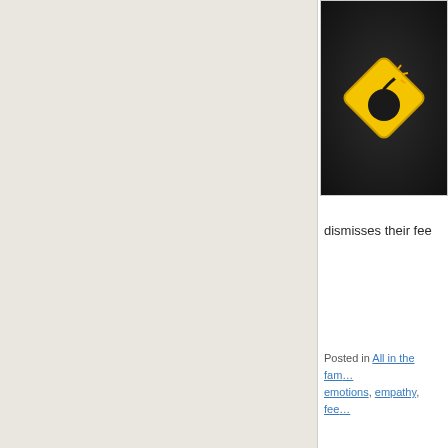[Figure (illustration): Warning/danger sign icon: yellow diamond shape with black bomb symbol on dark metallic background]
dismisses their fee
Posted in All in the fam... emotions, empathy, fee...
[Figure (photo): Seattle Field Trip image: marina with sailboats and city skyline, with header text 'uaSaid's Seattle Field Trip']
#ChampionsSumm...